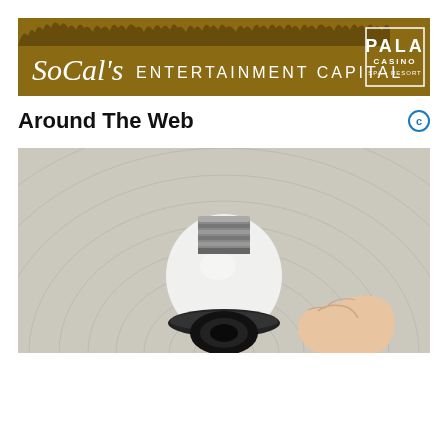[Figure (logo): Pala Casino Spa & Resort banner — SoCal's Entertainment Capital with crowd silhouette and Pala Casino logo on gold/brown background]
Around The Web
[Figure (photo): Close-up photograph of a person's hand holding a white smart light bulb (camera security bulb) against a background with concentric circular pattern on fabric/mesh surface]